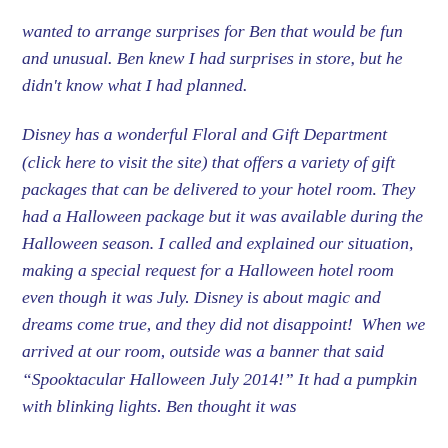wanted to arrange surprises for Ben that would be fun and unusual. Ben knew I had surprises in store, but he didn't know what I had planned.

Disney has a wonderful Floral and Gift Department (click here to visit the site) that offers a variety of gift packages that can be delivered to your hotel room. They had a Halloween package but it was available during the Halloween season. I called and explained our situation, making a special request for a Halloween hotel room even though it was July. Disney is about magic and dreams come true, and they did not disappoint!  When we arrived at our room, outside was a banner that said “Spooktacular Halloween July 2014!” It had a pumpkin with blinking lights. Ben thought it was